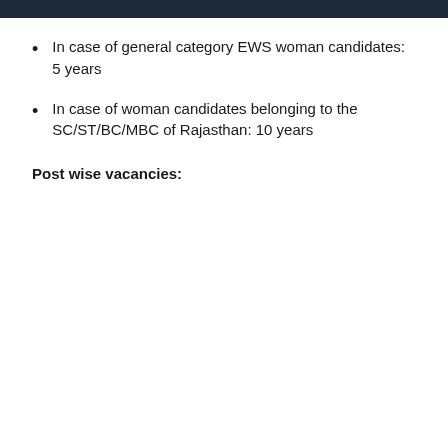In case of general category EWS woman candidates: 5 years
In case of woman candidates belonging to the SC/ST/BC/MBC of Rajasthan: 10 years
Post wise vacancies: